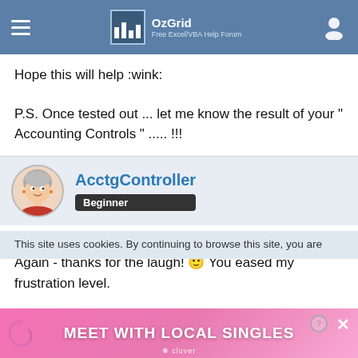OzGrid — Free Excel/VBA Help Forum
Hope this will help :wink:

P.S. Once tested out ... let me know the result of your " Accounting Controls " ..... !!!
AcctgController — Beginner
Apr 15th 2019
Again - thanks for the laugh! 🙂 You eased my frustration level.
This site uses cookies. By continuing to browse this site, you are
[Figure (screenshot): Advertisement banner: MEET WITH LOCAL SINGLES by Clover app]